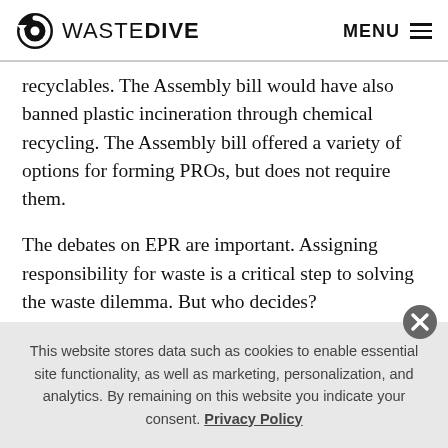WASTE DIVE  MENU
recyclables. The Assembly bill would have also banned plastic incineration through chemical recycling. The Assembly bill offered a variety of options for forming PROs, but does not require them.
The debates on EPR are important. Assigning responsibility for waste is a critical step to solving the waste dilemma. But who decides?
The choices can lead to a dystopian future of corporate
This website stores data such as cookies to enable essential site functionality, as well as marketing, personalization, and analytics. By remaining on this website you indicate your consent. Privacy Policy